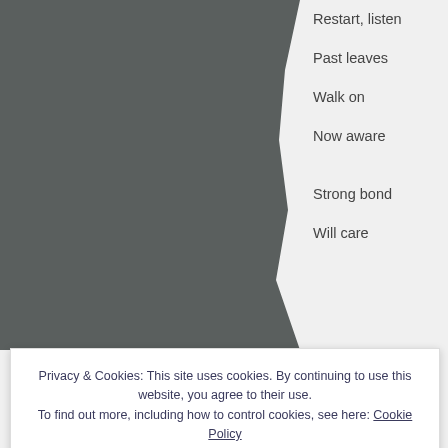[Figure (photo): Dark grey textured background image occupying the left portion of the page]
Restart, listen
Past leaves
Walk on
Now aware
Strong bond
Will care
Privacy & Cookies: This site uses cookies. By continuing to use this website, you agree to their use. To find out more, including how to control cookies, see here: Cookie Policy
Close and accept